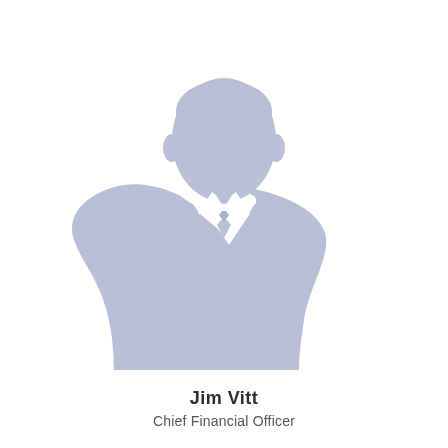[Figure (illustration): Generic placeholder silhouette of a man in a suit and tie, rendered in light blue-grey color]
Jim Vitt
Chief Financial Officer